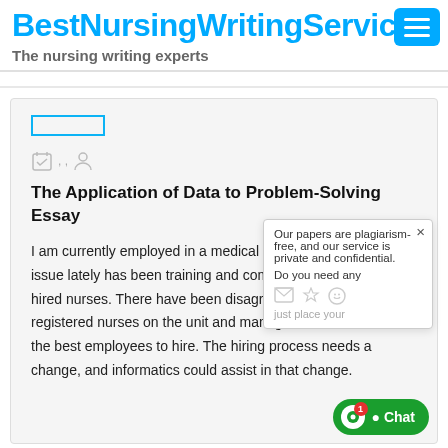BestNursingWritingService
The nursing writing experts
[Figure (other): Category label bar (blue outlined rectangle) and meta icons row (calendar, comma, person icons)]
The Application of Data to Problem-Solving Essay
I am currently employed in a medical ICU and a issue lately has been training and competency of newly hired nurses. There have been disagreements between registered nurses on the unit and management about the best employees to hire. The hiring process needs a change, and informatics could assist in that change.
[Figure (other): Popup overlay: 'Our papers are plagiarism-free, and our service is private and confidential. Do you need any ...' with close button and icon row]
[Figure (other): Chat button (green, bottom right): 'Chat' with notification badge showing 1]